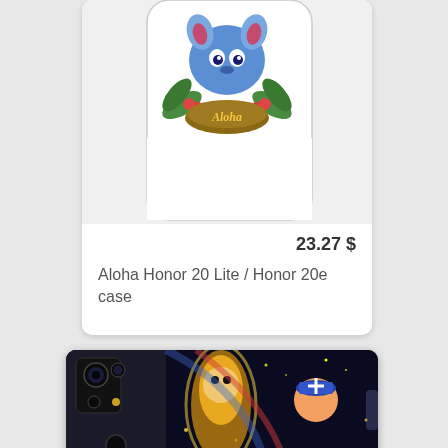[Figure (photo): White phone case with Stitch (Lilo and Stitch) Aloha design on a phone mockup, top portion of product card visible]
23.27 $
Aloha Honor 20 Lite / Honor 20e case
[Figure (photo): Black phone case with anime One Piece characters design on a phone mockup, partially visible at bottom of page]